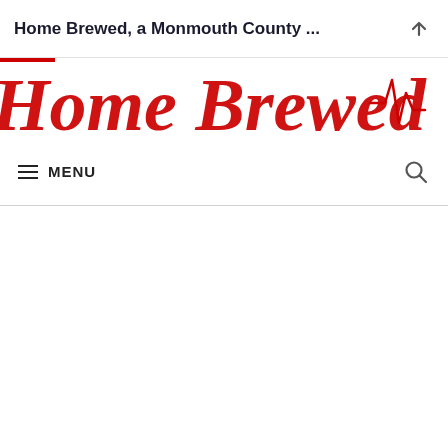Home Brewed, a Monmouth County ...
[Figure (logo): Partially cropped red decorative script/logo text for 'Home Brewed, a Monmouth County' blog, shown in red cursive lettering with a stylized heartbeat/pulse graphic element on the right side.]
≡ MENU